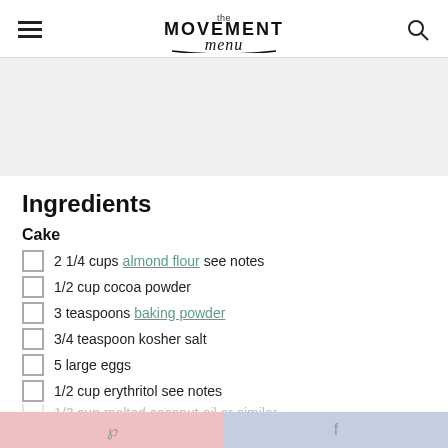the MOVEMENT menu
Ingredients
Cake
2 1/4 cups almond flour see notes
1/2 cup cocoa powder
3 teaspoons baking powder
3/4 teaspoon kosher salt
5 large eggs
1/2 cup erythritol see notes
Pinterest  Facebook